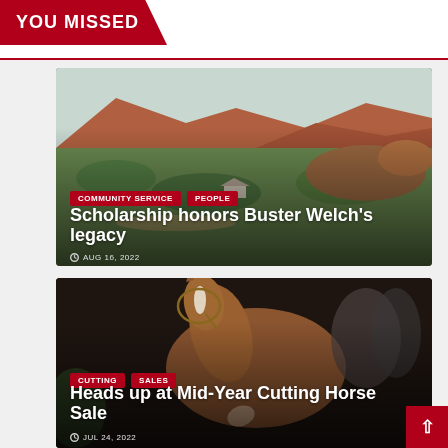YOU MISSED
[Figure (photo): Aerial landscape photo showing red rock mesas, green vegetation, and a small structure in a western terrain — used as card background.]
Scholarship honors Buster Welch's legacy
COMMUNITY SERVICE
PEOPLE
AUG 16, 2022
[Figure (photo): Close-up photo of a chestnut horse with a white blaze being shown at a cutting horse sale event, with handlers and spectators in the background.]
Heads up at Mid-Year Cutting Horse Sale
CUTTING
SALES
JUL 24, 2022